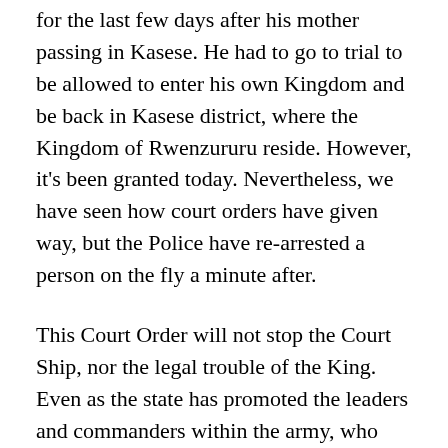for the last few days after his mother passing in Kasese. He had to go to trial to be allowed to enter his own Kingdom and be back in Kasese district, where the Kingdom of Rwenzururu reside. However, it’s been granted today. Nevertheless, we have seen how court orders have given way, but the Police have re-arrested a person on the fly a minute after.
This Court Order will not stop the Court Ship, nor the legal trouble of the King. Even as the state has promoted the leaders and commanders within the army, who attacked this kingdom and killed his kin. That is the sort of the leadership that is in Kampala these days, maybe some have forgotten that, but